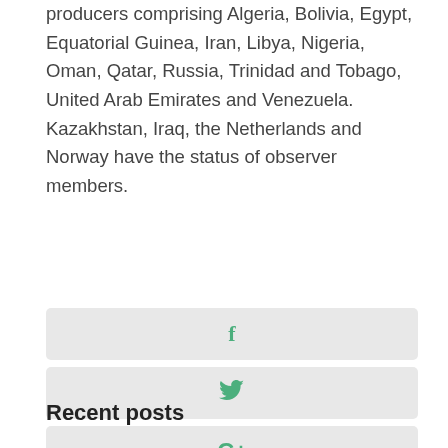producers comprising Algeria, Bolivia, Egypt, Equatorial Guinea, Iran, Libya, Nigeria, Oman, Qatar, Russia, Trinidad and Tobago, United Arab Emirates and Venezuela. Kazakhstan, Iraq, the Netherlands and Norway have the status of observer members.
[Figure (other): Social media share buttons: Facebook (f), Twitter (bird icon), Google+ (G+), LinkedIn (in)]
Recent posts